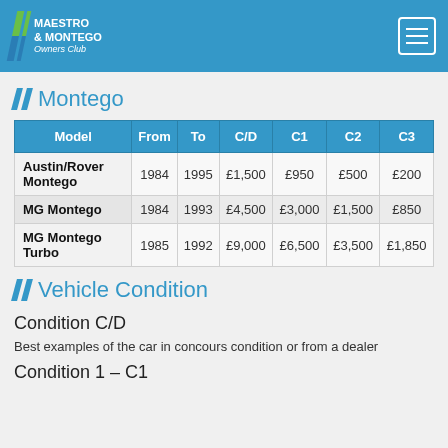Maestro & Montego Owners Club
Montego
| Model | From | To | C/D | C1 | C2 | C3 |
| --- | --- | --- | --- | --- | --- | --- |
| Austin/Rover Montego | 1984 | 1995 | £1,500 | £950 | £500 | £200 |
| MG Montego | 1984 | 1993 | £4,500 | £3,000 | £1,500 | £850 |
| MG Montego Turbo | 1985 | 1992 | £9,000 | £6,500 | £3,500 | £1,850 |
Vehicle Condition
Condition C/D
Best examples of the car in concours condition or from a dealer
Condition 1 – C1